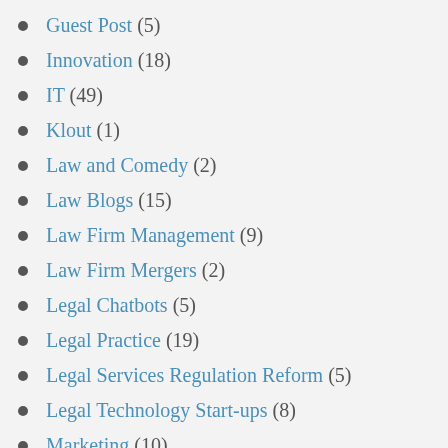Guest Post (5)
Innovation (18)
IT (49)
Klout (1)
Law and Comedy (2)
Law Blogs (15)
Law Firm Management (9)
Law Firm Mergers (2)
Legal Chatbots (5)
Legal Practice (19)
Legal Services Regulation Reform (5)
Legal Technology Start-ups (8)
Marketing (10)
Metaverse (2)
Microsoft Surface (1)